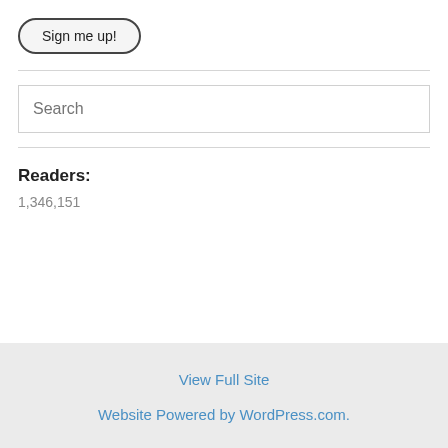Sign me up!
Search
Readers:
1,346,151
View Full Site
Website Powered by WordPress.com.